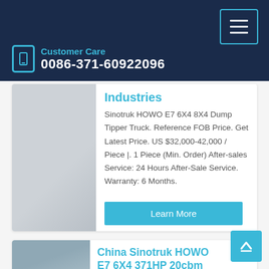Customer Care 0086-371-60922096
Industries
Sinotruk HOWO E7 6X4 8X4 Dump Tipper Truck. Reference FOB Price. Get Latest Price. US $32,000-42,000 / Piece |. 1 Piece (Min. Order) After-sales Service: 24 Hours After-Sale Service. Warranty: 6 Months.
Learn More
China Sinotruk HOWO E7 6X4 371HP 20cbm